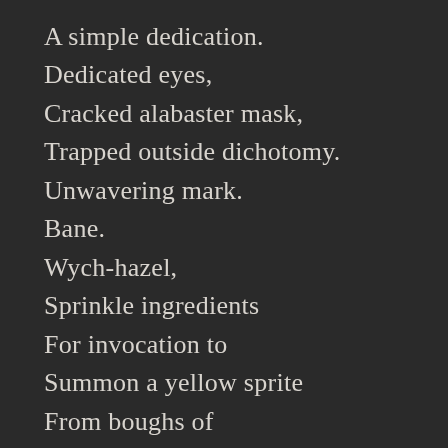A simple dedication.
Dedicated eyes,
Cracked alabaster mask,
Trapped outside dichotomy.
Unwavering mark.
Bane.
Wych-hazel,
Sprinkle ingredients
For invocation to
Summon a yellow sprite
From boughs of
Yellow trees.
A subtle mistake–
Now, catastrophe